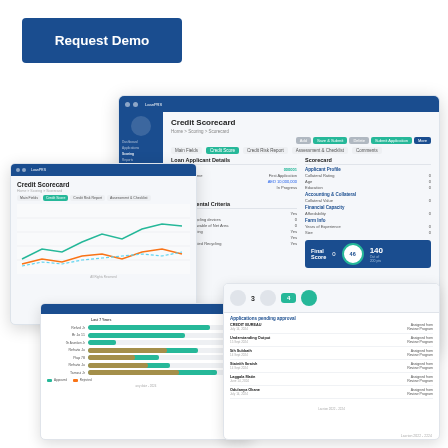[Figure (screenshot): Request Demo button - white text on dark blue background, rounded rectangle]
[Figure (screenshot): Software dashboard screenshots showing Credit Scorecard application with multiple overlapping screens: main credit scorecard detail view, smaller scorecard with line chart, bar chart comparison screen, and applications listing screen]